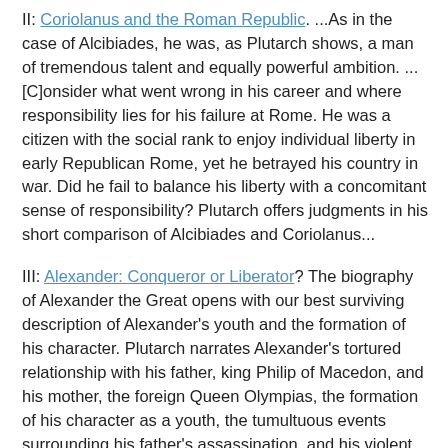II: Coriolanus and the Roman Republic. ...As in the case of Alcibiades, he was, as Plutarch shows, a man of tremendous talent and equally powerful ambition. ...[C]onsider what went wrong in his career and where responsibility lies for his failure at Rome. He was a citizen with the social rank to enjoy individual liberty in early Republican Rome, yet he betrayed his country in war. Did he fail to balance his liberty with a concomitant sense of responsibility? Plutarch offers judgments in his short comparison of Alcibiades and Coriolanus...
III: Alexander: Conqueror or Liberator? The biography of Alexander the Great opens with our best surviving description of Alexander's youth and the formation of his character. Plutarch narrates Alexander's tortured relationship with his father, king Philip of Macedon, and his mother, the foreign Queen Olympias, the formation of his character as a youth, the tumultuous events surrounding his father's assassination, and his violent accession to the kingship of Macedon and the hegemony over Greece. Plutarch paints a fascinating and evocative picture of a young man nurtured by conflicting forces: the violent, hard-drinking machismo of